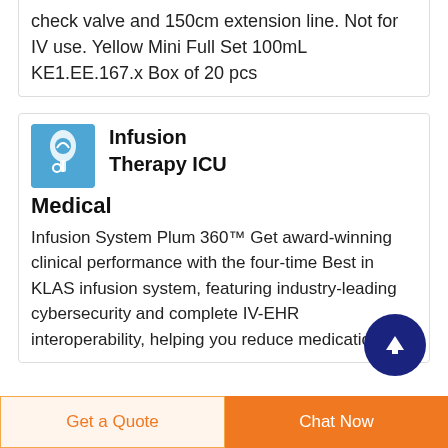check valve and 150cm extension line. Not for IV use. Yellow Mini Full Set 100mL KE1.EE.167.x Box of 20 pcs
Infusion Therapy ICU Medical
Infusion System Plum 360™ Get award-winning clinical performance with the four-time Best in KLAS infusion system, featuring industry-leading cybersecurity and complete IV-EHR interoperability, helping you reduce medication
[Figure (illustration): Blue square icon depicting an infusion/IV therapy device]
[Figure (other): Dark navy blue circular button with white upward arrow for scroll to top]
Get a Quote
Chat Now